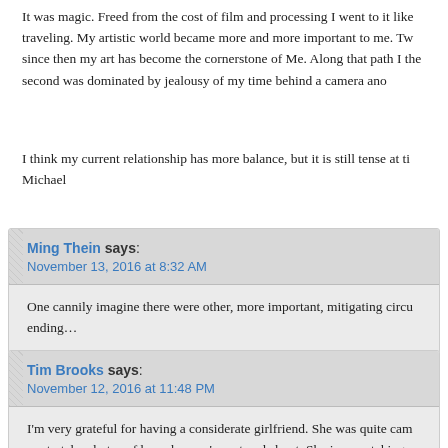It was magic. Freed from the cost of film and processing I went to it like traveling. My artistic world became more and more important to me. Tw since then my art has become the cornerstone of Me. Along that path I the second was dominated by jealousy of my time behind a camera ano
I think my current relationship has more balance, but it is still tense at ti Michael
Ming Thein says: November 13, 2016 at 8:32 AM
One cannily imagine there were other, more important, mitigating circu ending...
Tim Brooks says: November 12, 2016 at 11:48 PM
I'm very grateful for having a considerate girlfriend. She was quite cam me to take photos of her when we're out and about. She is even taking this, she doesn't share the passion to quite the same level as me, so I'm